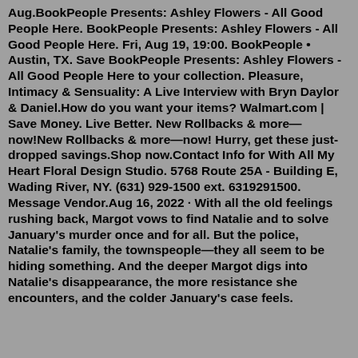Aug.BookPeople Presents: Ashley Flowers - All Good People Here. BookPeople Presents: Ashley Flowers - All Good People Here. Fri, Aug 19, 19:00. BookPeople • Austin, TX. Save BookPeople Presents: Ashley Flowers - All Good People Here to your collection. Pleasure, Intimacy & Sensuality: A Live Interview with Bryn Daylor & Daniel.How do you want your items? Walmart.com | Save Money. Live Better. New Rollbacks & more—now!New Rollbacks & more—now! Hurry, get these just-dropped savings.Shop now.Contact Info for With All My Heart Floral Design Studio. 5768 Route 25A - Building E, Wading River, NY. (631) 929-1500 ext. 6319291500. Message Vendor.Aug 16, 2022 · With all the old feelings rushing back, Margot vows to find Natalie and to solve January's murder once and for all. But the police, Natalie's family, the townspeople—they all seem to be hiding something. And the deeper Margot digs into Natalie's disappearance, the more resistance she encounters, and the colder January's case feels.